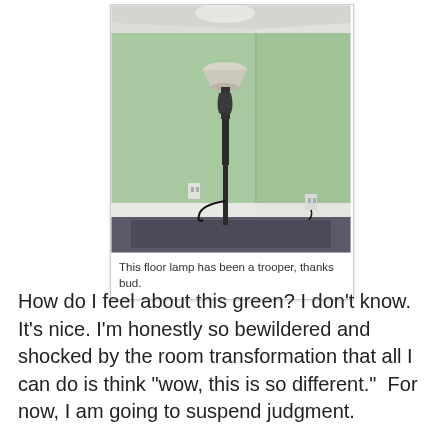[Figure (photo): A floor lamp with a frosted glass bowl shade and dark metal pole standing in the corner of an empty room with light green painted walls, white crown molding, white baseboard trim, and a dark rug on the floor. An electrical cord is visible plugged into a wall outlet.]
This floor lamp has been a trooper, thanks bud.
How do I feel about this green? I don't know.  It's nice. I'm honestly so bewildered and shocked by the room transformation that all I can do is think "wow, this is so different."  For now, I am going to suspend judgment.